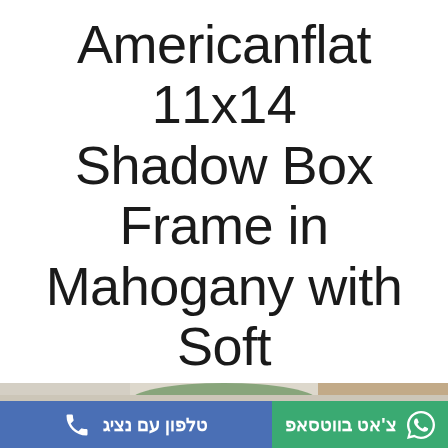Americanflat 11x14 Shadow Box Frame in Mahogany with Soft Linen Back Composite Wood with Shatter Resistant Glass for Wall and Tabletop
[Figure (photo): Partial view of a decorative shadow box frame with plants and light wood background]
טלפון עם נציג
צ'אט בווטסאפ